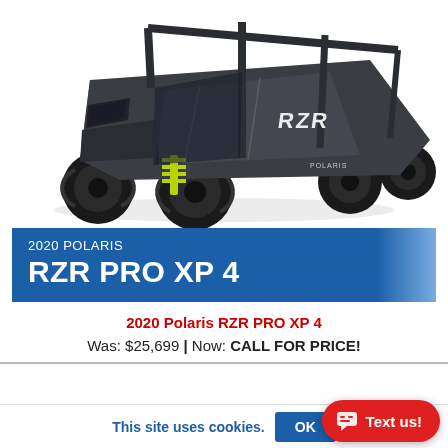[Figure (photo): 2020 Polaris RZR PRO XP 4 off-road vehicle in dark gray/black, viewed from front-left angle, with yellow-green suspension springs visible and large knobby tires. White background product shot.]
2020 POLARIS RZR PRO XP 4
2020 Polaris RZR PRO XP 4
Was: $25,699 | Now: CALL FOR PRICE!
This site uses cookies.